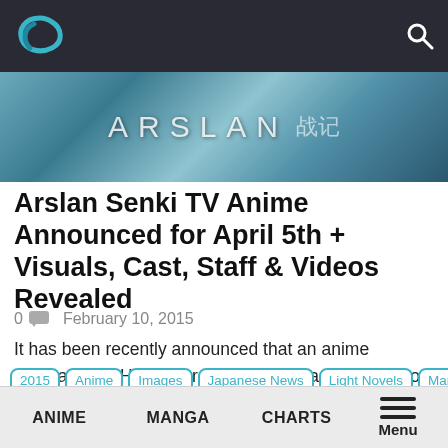Navigation bar with logo and search icon
[Figure (illustration): Arslan Senki anime banner image with teal/blue tones showing stylized ARSLAN text and Japanese characters]
Arslan Senki TV Anime Announced for April 5th + Visuals, Cast, Staff & Videos Revealed
0  February 10, 2015
It has been recently announced that an anime adaptation of Hiromu Arakawa's manga adaptation of Yoshiki Tanaka and Yoshitaka Amano's Arslan Senki (The...
2015
Anime
Images
Japanese News
Light Novels
Manga
ANIME    MANGA    CHARTS    Menu